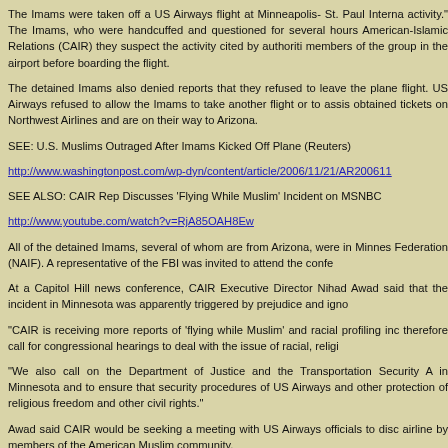The Imams were taken off a US Airways flight at Minneapolis- St. Paul Interna activity." The Imams, who were handcuffed and questioned for several hours American-Islamic Relations (CAIR) they suspect the activity cited by authoriti members of the group in the airport before boarding the flight.
The detained Imams also denied reports that they refused to leave the plane flight. US Airways refused to allow the Imams to take another flight or to assis obtained tickets on Northwest Airlines and are on their way to Arizona.
SEE: U.S. Muslims Outraged After Imams Kicked Off Plane (Reuters)
http://www.washingtonpost.com/wp-dyn/content/article/2006/11/21/AR200611
SEE ALSO: CAIR Rep Discusses 'Flying While Muslim' Incident on MSNBC
http://www.youtube.com/watch?v=RjA85OAH8Ew
All of the detained Imams, several of whom are from Arizona, were in Minnes Federation (NAIF). A representative of the FBI was invited to attend the confe
At a Capitol Hill news conference, CAIR Executive Director Nihad Awad said that the incident in Minnesota was apparently triggered by prejudice and igno
"CAIR is receiving more reports of 'flying while Muslim' and racial profiling inc therefore call for congressional hearings to deal with the issue of racial, religi
"We also call on the Department of Justice and the Transportation Security A in Minnesota and to ensure that security procedures of US Airways and other protection of religious freedom and other civil rights."
Awad said CAIR would be seeking a meeting with US Airways officials to disc airline by members of the American Muslim community.